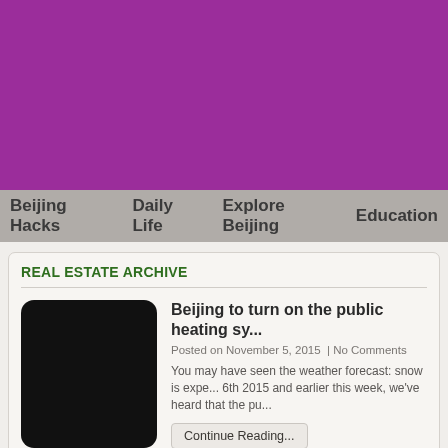[Figure (other): Purple banner/header image area]
Beijing Hacks | Daily Life | Explore Beijing | Education
REAL ESTATE ARCHIVE
[Figure (photo): Black thumbnail image for first blog post]
Beijing to turn on the public heating sy...
Posted on November 5, 2015  | No Comments
You may have seen the weather forecast: snow is expe... 6th 2015 and earlier this week, we've heard that the pu...
Continue Reading...
[Figure (photo): Black thumbnail image for second blog post]
27th August 2015: China eases proper...